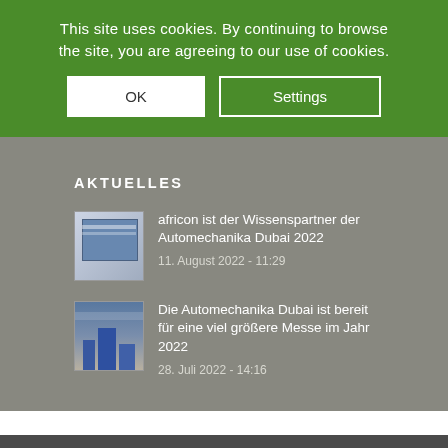This site uses cookies. By continuing to browse the site, you are agreeing to our use of cookies.
OK
Settings
AKTUELLES
africon ist der Wissenspartner der Automechanika Dubai 2022
11. August 2022 - 11:29
Die Automechanika Dubai ist bereit für eine viel größere Messe im Jahr 2022
28. Juli 2022 - 14:16